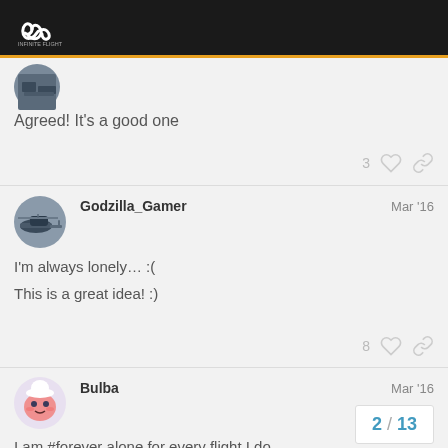Infinite Flight Community Forum
[Figure (photo): User avatar showing military equipment/vehicle, partially visible]
Agreed! It's a good one
3 likes, link icon
[Figure (photo): Godzilla_Gamer avatar showing helicopter]
Godzilla_Gamer  Mar '16
I'm always lonely… :(

This is a great idea! :)
8 likes, link icon
[Figure (photo): Bulba avatar showing Kirby character with chef hat]
Bulba  Mar '16
I am #forever alone for every flight I do…
2 / 13